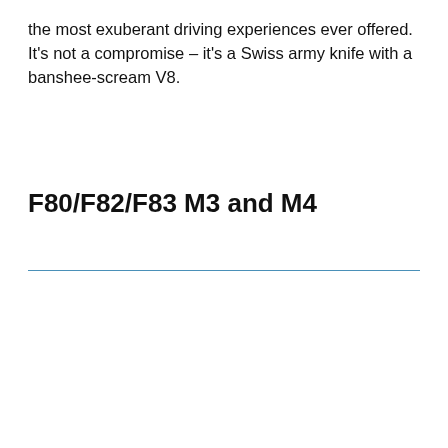the most exuberant driving experiences ever offered. It's not a compromise – it's a Swiss army knife with a banshee-scream V8.
F80/F82/F83 M3 and M4